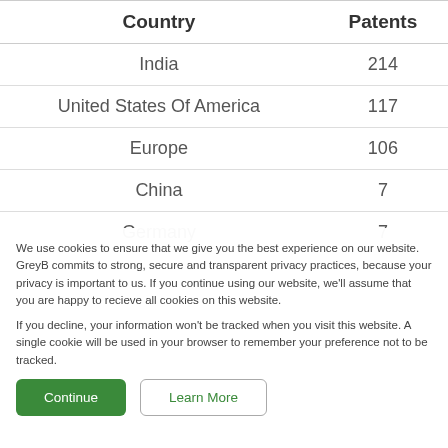| Country | Patents |
| --- | --- |
| India | 214 |
| United States Of America | 117 |
| Europe | 106 |
| China | 7 |
| Germany | 7 |
We use cookies to ensure that we give you the best experience on our website. GreyB commits to strong, secure and transparent privacy practices, because your privacy is important to us. If you continue using our website, we'll assume that you are happy to recieve all cookies on this website.
If you decline, your information won't be tracked when you visit this website. A single cookie will be used in your browser to remember your preference not to be tracked.